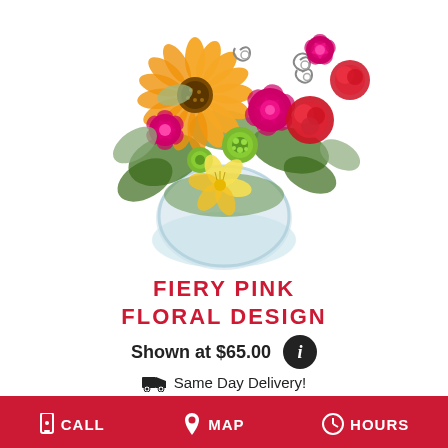[Figure (photo): Colorful floral arrangement in a round glass vase featuring orange gerbera daisies, hot pink roses, red carnations, green button mums, yellow alstroemeria, greenery, and decorative wire spirals on a white background.]
FIERY PINK FLORAL DESIGN
Shown at $65.00
Same Day Delivery!
BUY NOW
CALL   MAP   HOURS